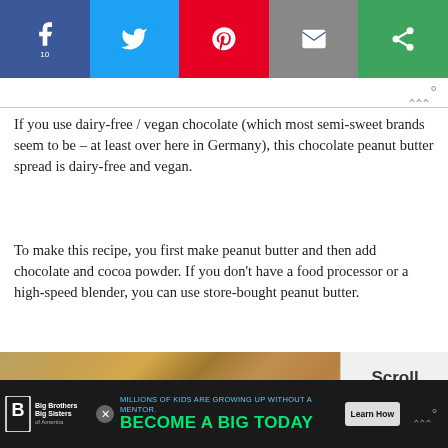[Figure (other): Social sharing bar with Facebook (blue), Twitter (light blue), Pinterest (red), Email (gray), and Share (green) buttons]
Logo/brand icon (three dots with degree symbol)
If you use dairy-free / vegan chocolate (which most semi-sweet brands seem to be – at least over here in Germany), this chocolate peanut butter spread is dairy-free and vegan.
To make this recipe, you first make peanut butter and then add chocolate and cocoa powder. If you don't have a food processor or a high-speed blender, you can use store-bought peanut butter.
[Figure (photo): Close-up photo of chocolate peanut butter spread on a surface, warm brown tones]
Scroll to top
[Figure (infographic): Advertisement bar: Big Brothers Big Sisters logo, text 'MILLIONS OF KIDS ARE GROWING UP WITHOUT A MENTOR. BECOME A BIG TODAY' with Learn How button]